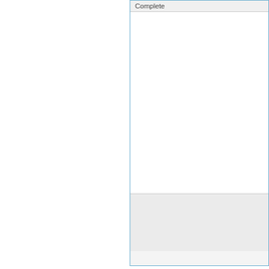[Figure (screenshot): Partial view of a software installation wizard dialog box showing a 'Complete' column header, with a white content area and a light grey footer area. The box has a blue border.]
Select features of t...
Click Next button to... server. The Authen... credentials to use i... Authentication Mo...
The "Windows Au... credenti... w... connecti... au... catalog. Otherwise...
[Figure (screenshot): Chat widget showing 'We're offline' and 'Leave a message' with an orange chat bubble icon.]